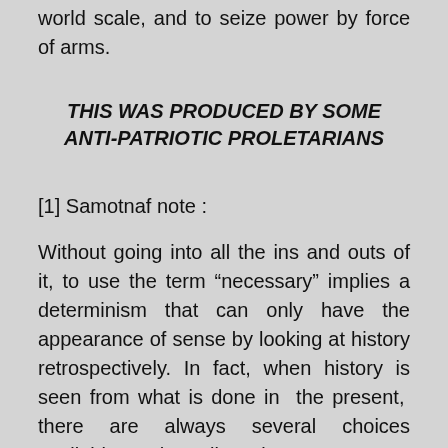world scale, and to seize power by force of arms.
THIS WAS PRODUCED BY SOME ANTI-PATRIOTIC PROLETARIANS
[1] Samotnaf note :
Without going into all the ins and outs of it, to use the term “necessary” implies a determinism that can only have the appearance of sense by looking at history retrospectively. In fact, when history is seen from what is done in the present, there are always several choices available to the ruling class at any one time, though obviously choices restricted to the need to survive,